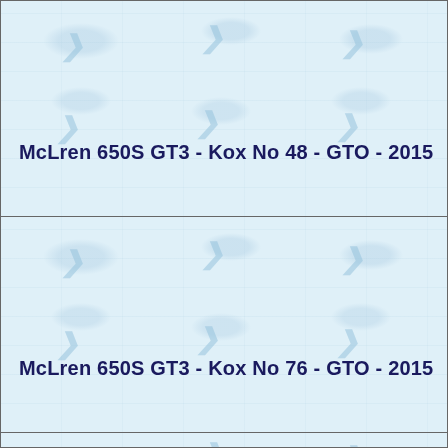McLren 650S GT3 - Kox No 48 - GTO - 2015
McLren 650S GT3 - Kox No 76 - GTO - 2015